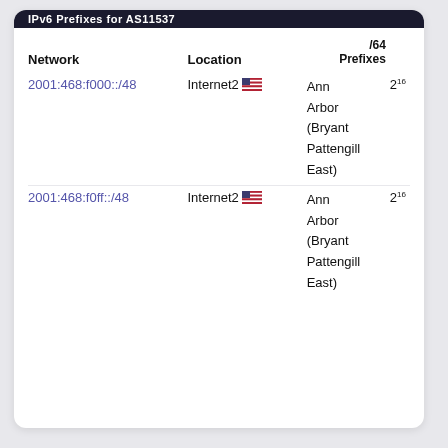| Network | Location | /64 Prefixes |
| --- | --- | --- |
| 2001:468:f000::/48 | Internet2 🇺🇸 Ann Arbor (Bryant Pattengill East) | 2¹⁶ |
| 2001:468:f0ff::/48 | Internet2 🇺🇸 Ann Arbor (Bryant Pattengill East) | 2¹⁶ |